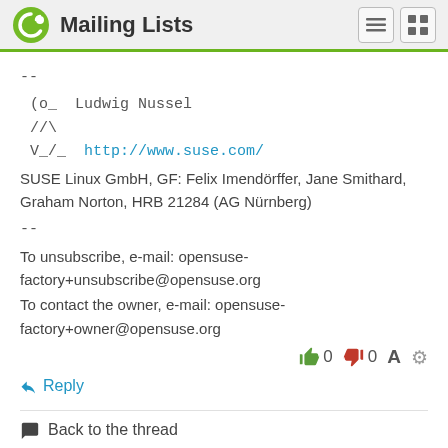Mailing Lists
--
   (o_  Ludwig Nussel
   //\
   V_/_  http://www.suse.com/
SUSE Linux GmbH, GF: Felix Imendörffer, Jane Smithard,
Graham Norton, HRB 21284 (AG Nürnberg)
--
To unsubscribe, e-mail: opensuse-factory+unsubscribe@opensuse.org
To contact the owner, e-mail: opensuse-factory+owner@opensuse.org
0  0
Reply
Back to the thread